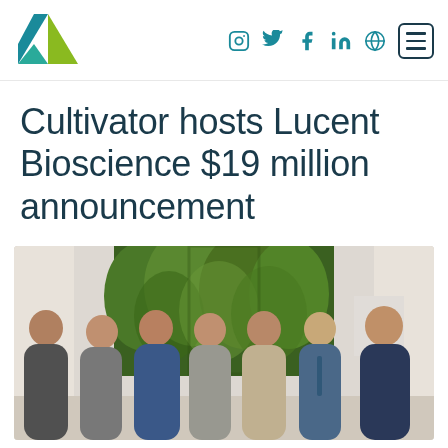[Figure (logo): Cultivator logo - triangular geometric shape in teal and green/yellow]
[Figure (infographic): Navigation bar with social media icons: Instagram, Twitter, Facebook, LinkedIn, globe/charity icon, and hamburger menu button]
Cultivator hosts Lucent Bioscience $19 million announcement
[Figure (photo): Group photo of seven people standing together indoors in front of a green plant wall]